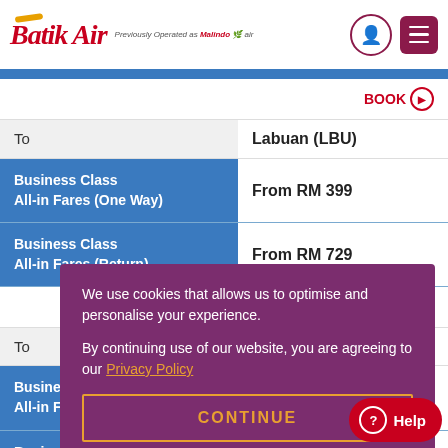Batik Air — Previously Operated as Malindo Air
BOOK
|  |  |
| --- | --- |
| To | Labuan (LBU) |
| Business Class All-in Fares (One Way) | From RM 399 |
| Business Class All-in Fares (Return) | From RM 729 |
BOOK
|  |  |
| --- | --- |
| To | Kota Kinabalu (BKI) |
| Business Clas All-in Fares (One Way) |  |
| Business Class All-in Fares (Return) | From RM ... |
We use cookies that allows us to optimise and personalise your experience.

By continuing use of our website, you are agreeing to our Privacy Policy

CONTINUE
Help